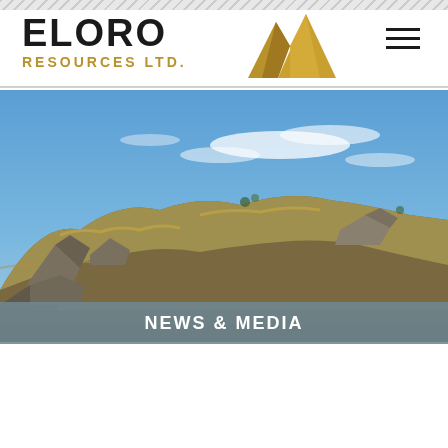ELORO RESOURCES LTD.
[Figure (photo): Outdoor photograph of a rocky hillside with dry golden grass and boulders under a blue sky with wispy white clouds — a mining exploration landscape.]
NEWS & MEDIA
News Release